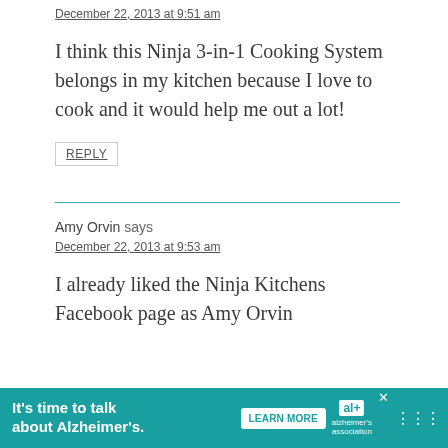December 22, 2013 at 9:51 am
I think this Ninja 3-in-1 Cooking System belongs in my kitchen because I love to cook and it would help me out a lot!
REPLY
Amy Orvin says
December 22, 2013 at 9:53 am
I already liked the Ninja Kitchens Facebook page as Amy Orvin
[Figure (infographic): Advertisement banner: 'It's time to talk about Alzheimer's.' with LEARN MORE button, Alzheimer's Association logo, and close button]